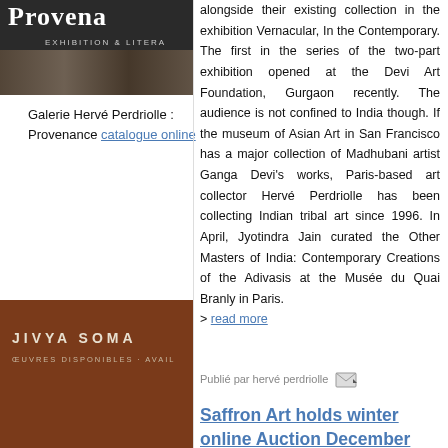[Figure (photo): Galerie Hervé Perdriolle Provenance exhibition banner with dark background, white text reading 'Provena...' and 'EXHIBITION & LITERA...']
Galerie Hervé Perdriolle : Provenance catalogue online
alongside their existing collection in the exhibition Vernacular, In the Contemporary. The first in the series of the two-part exhibition opened at the Devi Art Foundation, Gurgaon recently. The audience is not confined to India though. If the museum of Asian Art in San Francisco has a major collection of Madhubani artist Ganga Devi's works, Paris-based art collector Hervé Perdriolle has been collecting Indian tribal art since 1996. In April, Jyotindra Jain curated the Other Masters of India: Contemporary Creations of the Adivasis at the Musée du Quai Branly in Paris.
> read more
Publié par hervé perdriolle
[Figure (photo): Jivya Soma book cover with brown/terracotta background, white text 'JIVYA SOMA' and 'ŒUVRES DISPONIBLES · AVAIL...']
Saffron Art holds winter online Auction December 8th an 9th 2010